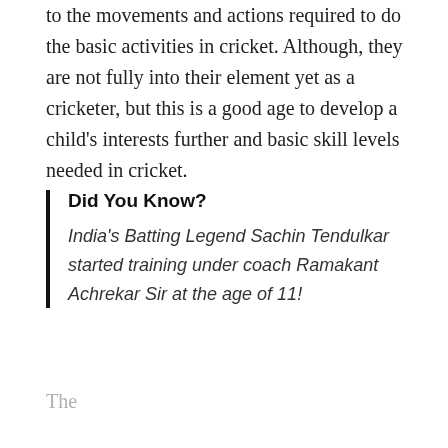to the movements and actions required to do the basic activities in cricket. Although, they are not fully into their element yet as a cricketer, but this is a good age to develop a child's interests further and basic skill levels needed in cricket.
Did You Know?
India's Batting Legend Sachin Tendulkar started training under coach Ramakant Achrekar Sir at the age of 11!
The...